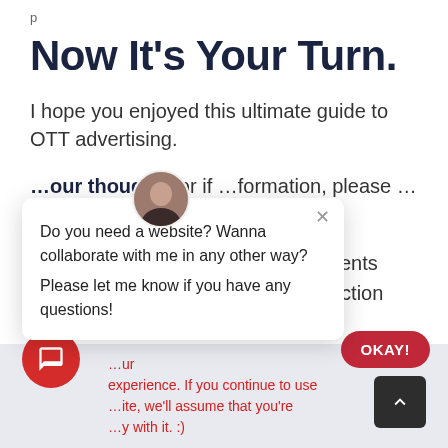p
Now It's Your Turn.
I hope you enjoyed this ultimate guide to OTT advertising.
…your thoughts or if …formation, please …ents section
[Figure (screenshot): Chat popup widget with avatar photo, close X button, and message: 'Do you need a website? Wanna collaborate with me in any other way? Please let me know if you have any questions!']
…ur experience. If you continue to use …ite, we'll assume that you're …y with it. :)